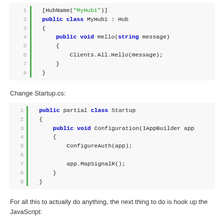[Figure (screenshot): Code block showing C# Hub class with HubName attribute, line numbers 1-8, green bar on left. Lines: [HubName("MyHub1")], public class MyHub1 : Hub, {, public void Hello(string message), {, Clients.All.Hello(message);, }, }]
Change Startup.cs:
[Figure (screenshot): Code block showing C# Startup class, line numbers 1-9, green bar on left. Lines: public partial class Startup, {, public void Configuration(IAppBuilder app, {, ConfigureAuth(app);, (blank), app.MapSignalR();, }, }]
For all this to actually do anything, the next thing to do is hook up the JavaScript: